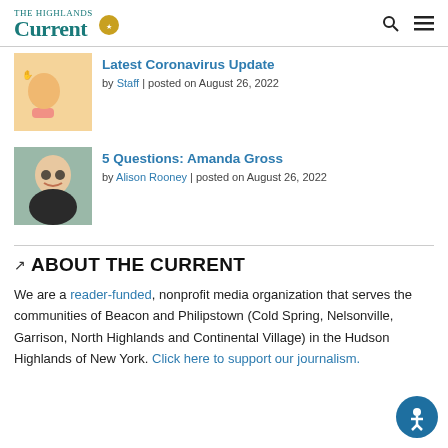The Highlands Current
[Figure (photo): Vaccine bandage on arm]
Latest Coronavirus Update
by Staff | posted on August 26, 2022
[Figure (photo): Woman with glasses smiling]
5 Questions: Amanda Gross
by Alison Rooney | posted on August 26, 2022
ABOUT THE CURRENT
We are a reader-funded, nonprofit media organization that serves the communities of Beacon and Philipstown (Cold Spring, Nelsonville, Garrison, North Highlands and Continental Village) in the Hudson Highlands of New York. Click here to support our journalism.